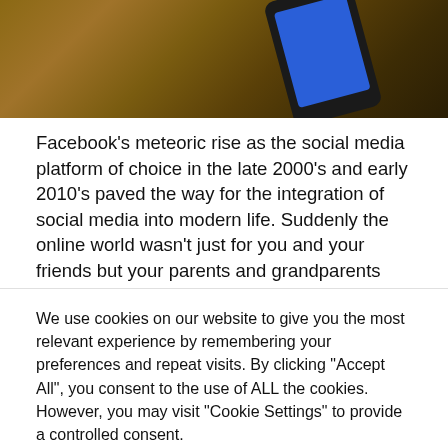[Figure (photo): Partial view of a smartphone lying on a wooden surface, shot from above, screen appearing blue. Bottom portion of image visible.]
Facebook's meteoric rise as the social media platform of choice in the late 2000's and early 2010's paved the way for the integration of social media into modern life. Suddenly the online world wasn't just for you and your friends but your parents and grandparents too. For many, Facebook was the perfect vessel to share your life with the world and connect with others. Despite
We use cookies on our website to give you the most relevant experience by remembering your preferences and repeat visits. By clicking "Accept All", you consent to the use of ALL the cookies. However, you may visit "Cookie Settings" to provide a controlled consent.